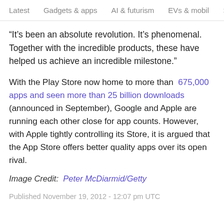Latest   Gadgets & apps   AI & futurism   EVs & mobil  >
“It’s been an absolute revolution. It’s phenomenal. Together with the incredible products, these have helped us achieve an incredible milestone.”
With the Play Store now home to more than 675,000 apps and seen more than 25 billion downloads (announced in September), Google and Apple are running each other close for app counts. However, with Apple tightly controlling its Store, it is argued that the App Store offers better quality apps over its open rival.
Image Credit:  Peter McDiarmid/Getty
Published November 19, 2012 - 12:07 pm UTC